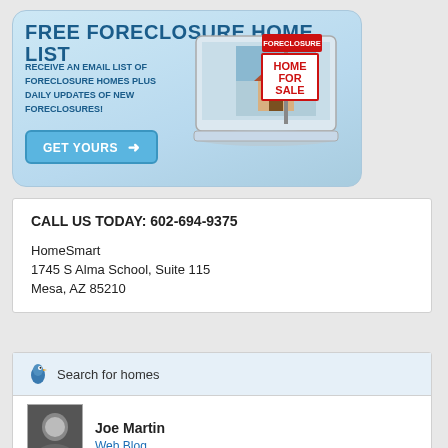[Figure (infographic): Free Foreclosure Home List banner ad with laptop showing a home for sale sign, blue gradient background, 'GET YOURS' button]
CALL US TODAY: 602-694-9375
HomeSmart
1745 S Alma School, Suite 115
Mesa, AZ 85210
Search for homes
Joe Martin
Web Blog